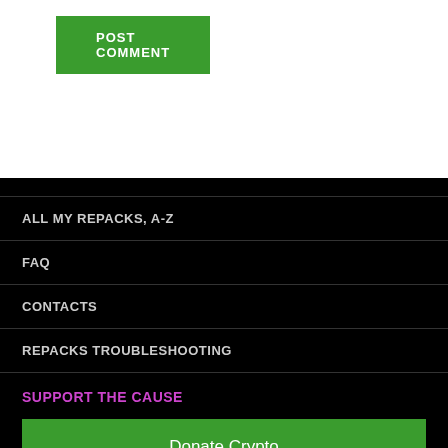POST COMMENT
ALL MY REPACKS, A-Z
FAQ
CONTACTS
REPACKS TROUBLESHOOTING
SUPPORT THE CAUSE
Donate Crypto